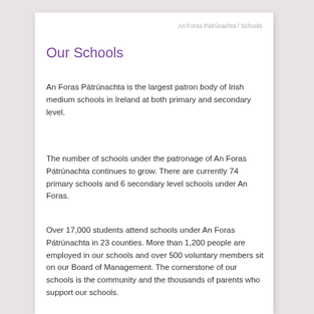An Foras Pátrúnachta / Schools
Our Schools
An Foras Pátrúnachta is the largest patron body of Irish medium schools in Ireland at both primary and secondary level.
The number of schools under the patronage of An Foras Pátrúnachta continues to grow. There are currently 74 primary schools and 6 secondary level schools under An Foras.
Over 17,000 students attend schools under An Foras Pátrúnachta in 23 counties. More than 1,200 people are employed in our schools and over 500 voluntary members sit on our Board of Management. The cornerstone of our schools is the community and the thousands of parents who support our schools.